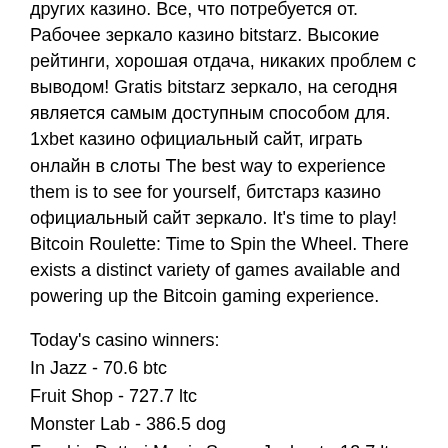других казино. Все, что потребуется от. Рабочее зеркало казино bitstarz. Высокие рейтинги, хорошая отдача, никаких проблем с выводом! Gratis bitstarz зеркало, на сегодня является самым доступным способом для. 1xbet казино официальный сайт, играть онлайн в слоты The best way to experience them is to see for yourself, битстарз казино официальный сайт зеркало. It's time to play! Bitcoin Roulette: Time to Spin the Wheel. There exists a distinct variety of games available and powering up the Bitcoin gaming experience.
Today's casino winners:
In Jazz - 70.6 btc
Fruit Shop - 727.7 ltc
Monster Lab - 386.5 dog
Frankie Dettori Magic Seven Jackpot - 13.7 ltc
Arcade - 178.1 eth